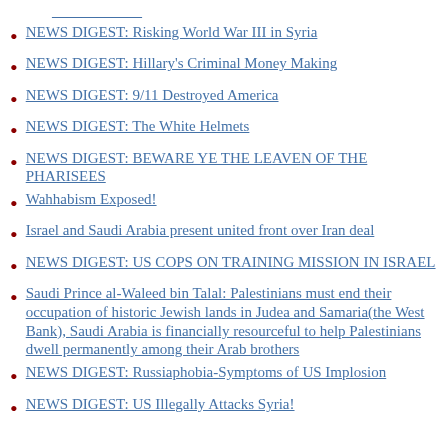[truncated link at top]
NEWS DIGEST: Risking World War III in Syria
NEWS DIGEST: Hillary's Criminal Money Making
NEWS DIGEST: 9/11 Destroyed America
NEWS DIGEST: The White Helmets
NEWS DIGEST: BEWARE YE THE LEAVEN OF THE PHARISEES
Wahhabism Exposed!
Israel and Saudi Arabia present united front over Iran deal
NEWS DIGEST: US COPS ON TRAINING MISSION IN ISRAEL
Saudi Prince al-Waleed bin Talal: Palestinians must end their occupation of historic Jewish lands in Judea and Samaria(the West Bank), Saudi Arabia is financially resourceful to help Palestinians dwell permanently among their Arab brothers
NEWS DIGEST: Russiaphobia-Symptoms of US Implosion
NEWS DIGEST: US Illegally Attacks Syria!